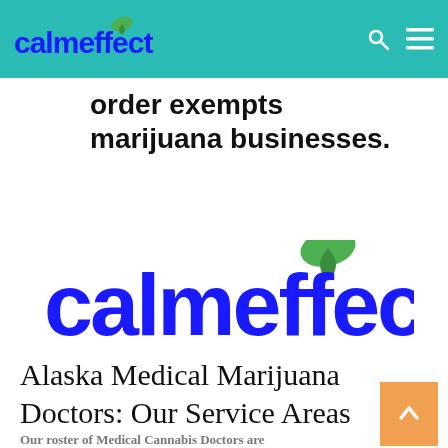calmeffect
order exempts marijuana businesses.
[Figure (logo): calmeffect logo with green leaf above the letter 't', blue text on white background]
Alaska Medical Marijuana Doctors: Our Service Areas
Our roster of Medical Cannabis Doctors are